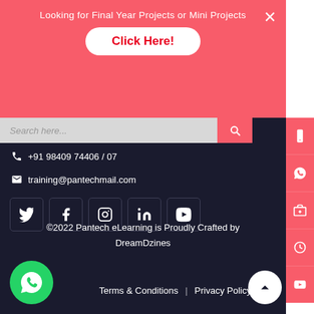Looking for Final Year Projects or Mini Projects
Click Here!
+91 98409 74406 / 07
training@pantechmail.com
[Figure (infographic): Social media icons row: Twitter, Facebook, Instagram, LinkedIn, YouTube]
©2022 Pantech eLearning is Proudly Crafted by DreamDzines
Terms & Conditions  |  Privacy Policy